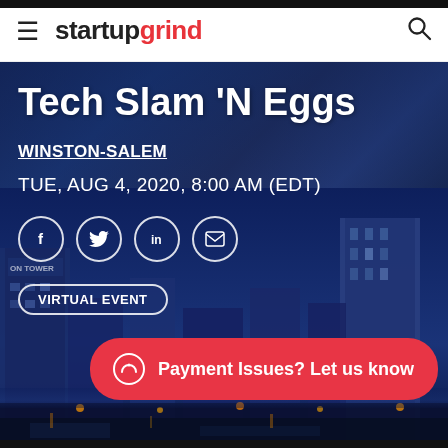startupgrind
Tech Slam 'N Eggs
WINSTON-SALEM
TUE, AUG 4, 2020, 8:00 AM (EDT)
[Figure (infographic): Social sharing icons: Facebook, Twitter, LinkedIn, Email — white circle outline buttons]
VIRTUAL EVENT
Payment Issues? Let us know
[Figure (photo): Night cityscape of Winston-Salem with tall office buildings lit up against a dark blue sky]